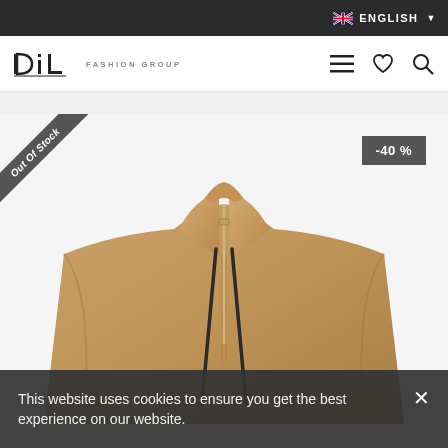ENGLISH
[Figure (logo): DIL Fashion Group logo — stylized DIL text with FASHION GROUP subtitle]
[Figure (screenshot): E-commerce product page showing a beige/camel hooded zip-up cape/sweatshirt on light gray background. Out Of Stock ribbon on top-left corner. -40% discount badge on top-right.]
This website uses cookies to ensure you get the best experience on our website.